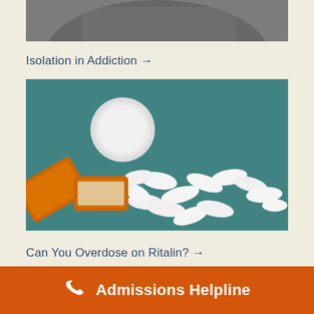[Figure (photo): Partial view of a person, cropped at top of page — grayscale/dark tones]
Isolation in Addiction →
[Figure (photo): Overhead view of an orange prescription pill bottle tipped over with white pills scattered on a teal/green surface, with white bottle cap nearby]
Can You Overdose on Ritalin? →
Admissions Helpline